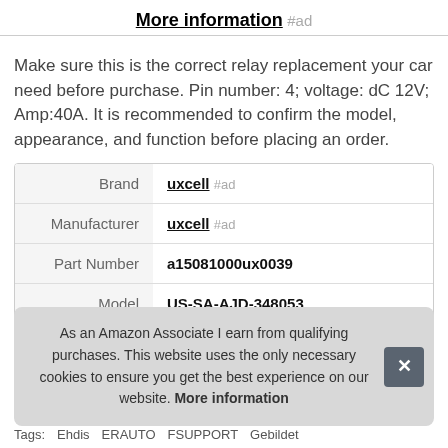More information #ad
Make sure this is the correct relay replacement your car need before purchase. Pin number: 4; voltage: dC 12V; Amp:40A. It is recommended to confirm the model, appearance, and function before placing an order.
|  |  |
| --- | --- |
| Brand | uxcell #ad |
| Manufacturer | uxcell #ad |
| Part Number | a15081000ux0039 |
| Model | US-SA-AJD-348053 |
As an Amazon Associate I earn from qualifying purchases. This website uses the only necessary cookies to ensure you get the best experience on our website. More information
Tags: Ehdis ERAUTO FSUPPORT Gebildet